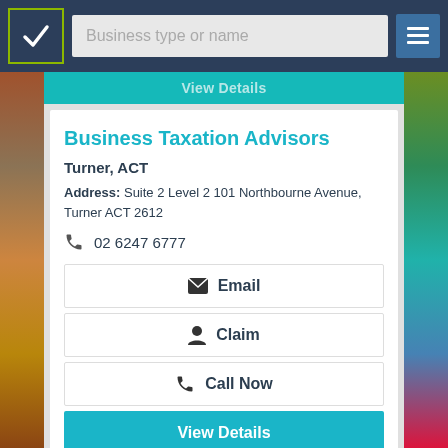Business type or name
Business Taxation Advisors
Turner, ACT
Address: Suite 2 Level 2 101 Northbourne Avenue, Turner ACT 2612
02 6247 6777
Email
Claim
Call Now
View Details